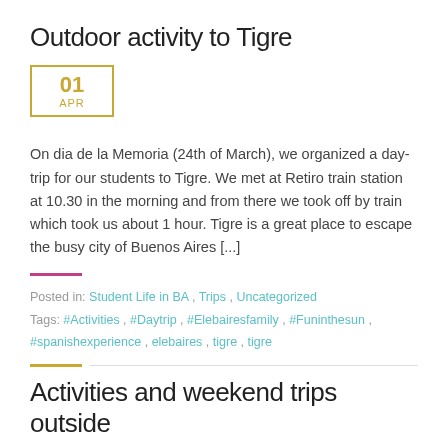Outdoor activity to Tigre
01
APR
On dia de la Memoria (24th of March), we organized a day-trip for our students to Tigre. We met at Retiro train station at 10.30 in the morning and from there we took off by train which took us about 1 hour. Tigre is a great place to escape the busy city of Buenos Aires [...]
Posted in: Student Life in BA , Trips , Uncategorized
Tags: #Activities , #Daytrip , #Elebairesfamily , #Funinthesun , #spanishexperience , elebaires , tigre , tigre
Activities and weekend trips outside